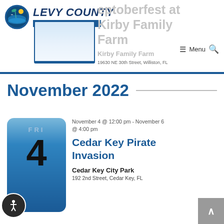Levy County Visitors Bureau
Septoberfest at Kirby Family Farm
Kirby Family Farm
19630 NE 30th Street, Williston, FL
November 2022
November 4 @ 12:00 pm - November 6 @ 4:00 pm
Cedar Key Pirate Invasion
Cedar Key City Park
192 2nd Street, Cedar Key, FL